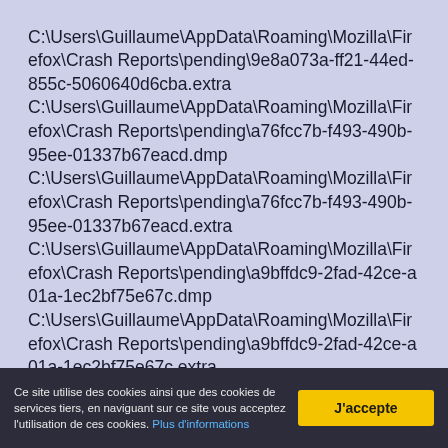C:\Users\Guillaume\AppData\Roaming\Mozilla\Firefox\CrashReports\pending\9e8a073a-ff21-44ed-855c-5060640d6cba.extra C:\Users\Guillaume\AppData\Roaming\Mozilla\Firefox\CrashReports\pending\a76fcc7b-f493-490b-95ee-01337b67eacd.dmp C:\Users\Guillaume\AppData\Roaming\Mozilla\Firefox\CrashReports\pending\a76fcc7b-f493-490b-95ee-01337b67eacd.extra C:\Users\Guillaume\AppData\Roaming\Mozilla\Firefox\CrashReports\pending\a9bffdc9-2fad-42ce-a01a-1ec2bf75e67c.dmp C:\Users\Guillaume\AppData\Roaming\Mozilla\Firefox\CrashReports\pending\a9bffdc9-2fad-42ce-a01a-1ec2bf75e67c.extra C:\Users\Guillaume\AppData\Roaming\Mozilla\Firefox\CrashReports\pending\ab2b59ba-9c08-42a0-b075-e614183dd666.dmp C:\Users\Guillaume\AppData\Roaming\Mozilla\Firefox\CrashReports\pending\ab2b59ba-9c08-42a0-b075-e614183dd666.extra
Ce site utilise des cookies ainsi que des cookies de services tiers, en naviguant sur ce site vous acceptez l'utilisation de ces cookies. Plus d'informations
J'accepte